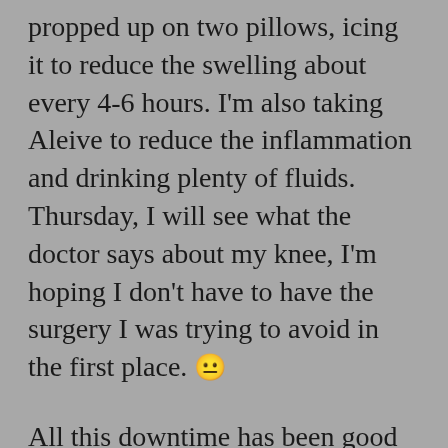propped up on two pillows, icing it to reduce the swelling about every 4-6 hours. I'm also taking Aleive to reduce the inflammation and drinking plenty of fluids. Thursday, I will see what the doctor says about my knee, I'm hoping I don't have to have the surgery I was trying to avoid in the first place. 😐
All this downtime has been good for my writing and reading, but the TV is distracting and I found myself watching Mary Shelley today which I found enchanting! I adore period pieces because the language is so proper, compared to the vulgar way